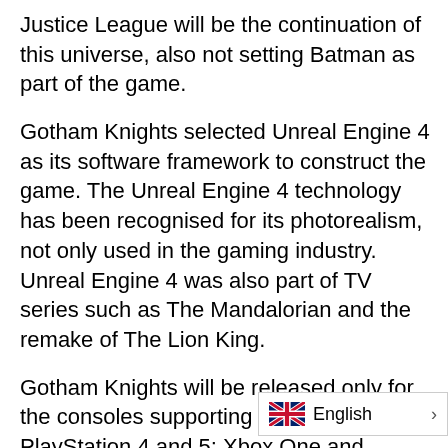Justice League will be the continuation of this universe, also not setting Batman as part of the game.
Gotham Knights selected Unreal Engine 4 as its software framework to construct the game. The Unreal Engine 4 technology has been recognised for its photorealism, not only used in the gaming industry. Unreal Engine 4 was also part of TV series such as The Mandalorian and the remake of The Lion King.
Gotham Knights will be released only for the consoles supporting this technology, PlayStation 4 and 5; Xbox One and Series X/S, and Microsoft Windows.